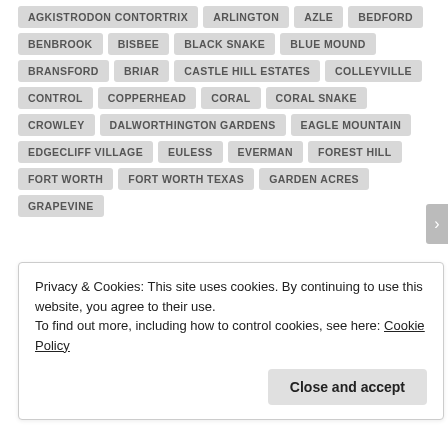AGKISTRODON CONTORTRIX
ARLINGTON
AZLE
BEDFORD
BENBROOK
BISBEE
BLACK SNAKE
BLUE MOUND
BRANSFORD
BRIAR
CASTLE HILL ESTATES
COLLEYVILLE
CONTROL
COPPERHEAD
CORAL
CORAL SNAKE
CROWLEY
DALWORTHINGTON GARDENS
EAGLE MOUNTAIN
EDGECLIFF VILLAGE
EULESS
EVERMAN
FOREST HILL
FORT WORTH
FORT WORTH TEXAS
GARDEN ACRES
GRAPEVINE
Privacy & Cookies: This site uses cookies. By continuing to use this website, you agree to their use.
To find out more, including how to control cookies, see here: Cookie Policy
Close and accept